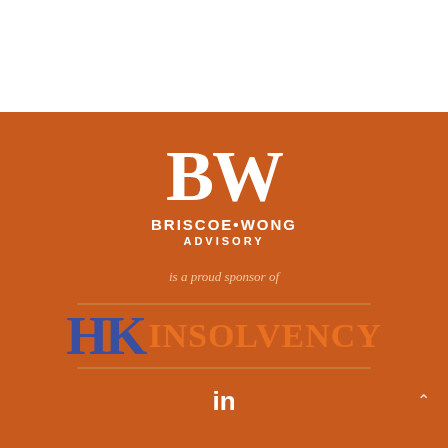[Figure (logo): BW Briscoe Wong Advisory logo in white on orange background]
is a proud sponsor of
[Figure (logo): HK Insolvency logo with blue HK letters and orange INSOLVENCY text, with brown horizontal lines above and below]
[Figure (logo): LinkedIn 'in' icon in white]